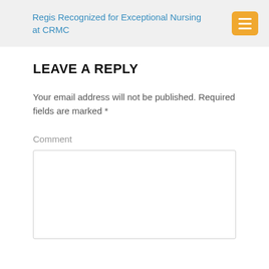Regis Recognized for Exceptional Nursing at CRMC
LEAVE A REPLY
Your email address will not be published. Required fields are marked *
Comment